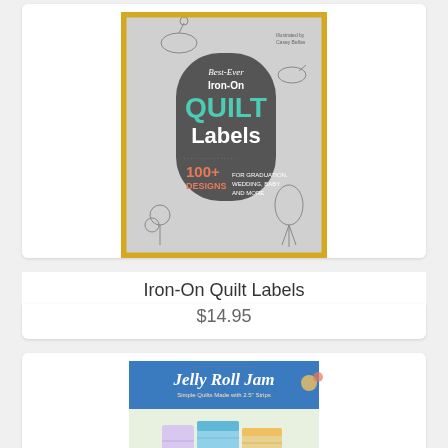[Figure (photo): Book cover for 'Best-Ever Iron-On Quilt Labels' showing an iron-shaped graphic on a gray background with decorative line-art animals and plants, yellow border. Text includes '100+ Designs for Graduation, Wedding, Baby and More'. Illustrated by Casey Bellas.]
Iron-On Quilt Labels
$14.95
[Figure (photo): Book cover for 'Jelly Roll Jam' showing colorful quilts and fabric rolls, with flowers in a vase. Blue banner at top with script title and subtitle 'Simple Quilts Made with 2.5" Strips'.]